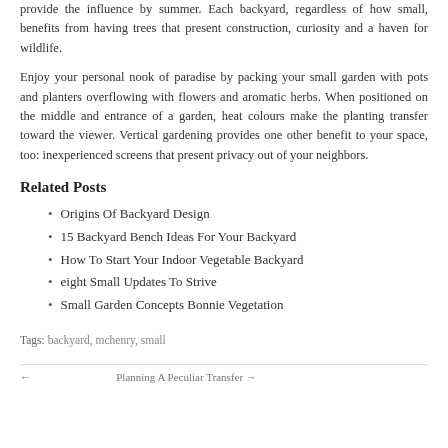provide the influence by summer. Each backyard, regardless of how small, benefits from having trees that present construction, curiosity and a haven for wildlife.
Enjoy your personal nook of paradise by packing your small garden with pots and planters overflowing with flowers and aromatic herbs. When positioned on the middle and entrance of a garden, heat colours make the planting transfer toward the viewer. Vertical gardening provides one other benefit to your space, too: inexperienced screens that present privacy out of your neighbors.
Related Posts
Origins Of Backyard Design
15 Backyard Bench Ideas For Your Backyard
How To Start Your Indoor Vegetable Backyard
eight Small Updates To Strive
Small Garden Concepts Bonnie Vegetation
Tags: backyard, mchenry, small
← [Previous] Planning A Peculiar Transfer →